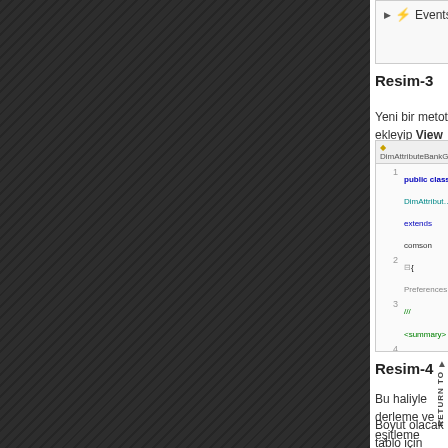[Figure (screenshot): IDE screenshot showing Events row with lightning bolt icon]
Resim-3
Yeni bir metot ekleyip View ismini yazıyoruz.
[Figure (screenshot): Code editor showing DimAttributeBankGroup class with SubscribesTo annotation and registerDimensionEnabledType method]
Resim-4
Bu haliyle derleme ve eşitleme yaptığınızda listede ge
Boyut olacak tablo için mutlaka RecId nin bir tek ind